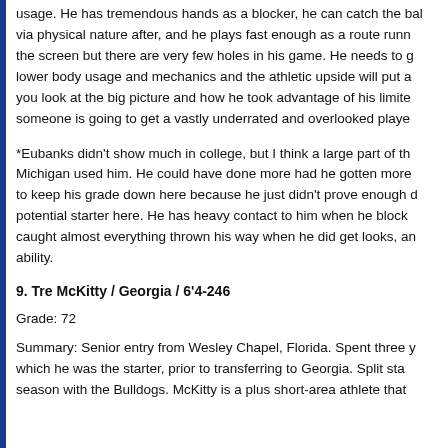usage. He has tremendous hands as a blocker, he can catch the ball via physical nature after, and he plays fast enough as a route runner the screen but there are very few holes in his game. He needs to get lower body usage and mechanics and the athletic upside will put a you look at the big picture and how he took advantage of his limited someone is going to get a vastly underrated and overlooked player.
*Eubanks didn't show much in college, but I think a large part of that is how Michigan used him. He could have done more had he gotten more to keep his grade down here because he just didn't prove enough as a potential starter here. He has heavy contact to him when he blocks, caught almost everything thrown his way when he did get looks, and ability.
9. Tre McKitty / Georgia / 6'4-246
Grade: 72
Summary: Senior entry from Wesley Chapel, Florida. Spent three years at which he was the starter, prior to transferring to Georgia. Split starts last season with the Bulldogs. McKitty is a plus short-area athlete that